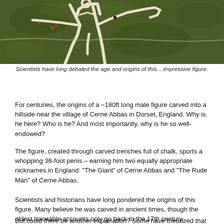[Figure (photo): Aerial view of a hillside chalk figure carved into green grass, showing white chalk trenches forming a large human figure. People are visible as small dots near the figure.]
Scientists have long debated the age and origins of this... impressive figure.
For centuries, the origins of a ~180ft long male figure carved into a hillside near the village of Cerne Abbas in Dorset, England. Why is he here? Who is he? And most importantly, why is he so well-endowed?
The figure, created through carved trenches full of chalk, sports a whopping 36-foot penis – earning him two equally appropriate nicknames in England: “The Giant” of Cerne Abbas and “The Rude Man” of Cerne Abbas.
Scientists and historians have long pondered the origins of this figure. Many believe he was carved in ancient times, though the oldest traceable accounts only go back to the 17th century.
But could there be another explanation? Some have theorized that due to its curious design and sheer scale